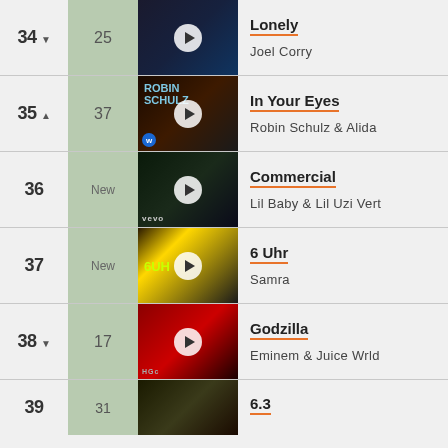34 ▼  25  Lonely  Joel Corry
35 ▲  37  In Your Eyes  Robin Schulz & Alida
36  New  Commercial  Lil Baby & Lil Uzi Vert
37  New  6 Uhr  Samra
38 ▼  17  Godzilla  Eminem & Juice Wrld
39  31  6.3